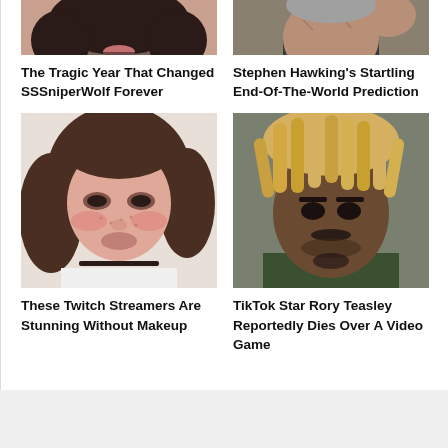[Figure (photo): Close-up photo of a young woman with dark hair and a choker necklace — top portion cropped]
The Tragic Year That Changed SSSniperWolf Forever
[Figure (photo): Close-up photo of an older man with a weathered face raising his hand — top portion cropped]
Stephen Hawking's Startling End-Of-The-World Prediction
[Figure (photo): Photo of a young woman with brown hair, heavy eye makeup, freckles, and a choker necklace]
These Twitch Streamers Are Stunning Without Makeup
[Figure (photo): Photo of a young Black man with blonde dreadlocks and a serious expression]
TikTok Star Rory Teasley Reportedly Dies Over A Video Game